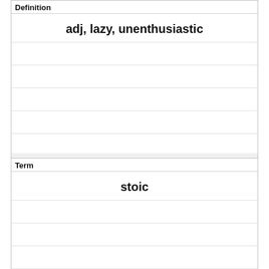Definition
adj, lazy, unenthusiastic
Term
stoic